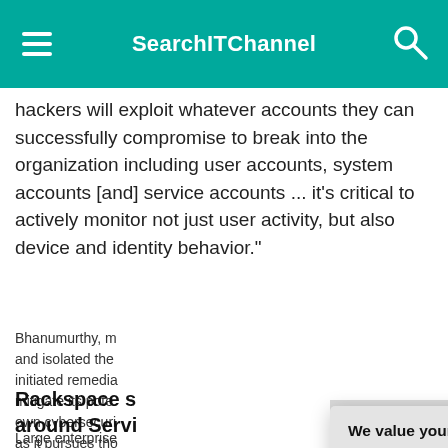SearchITChannel
hackers will exploit whatever accounts they can successfully compromise to break into the organization including user accounts, system accounts [and] service accounts ... it's critical to actively monitor not just user activity, but also device and identity behavior."
Bhanumurthy, m... and isolated the ... initiated remedia... mitigate its pote... own cybersecuri... as it pursues tho...
Rackspace s... around Servi...
Large enterprise... Blocks, modular...
[Figure (screenshot): Privacy consent modal dialog overlay on the webpage. Title: 'We value your privacy.' Body text: 'TechTarget and its partners employ cookies to improve your experience on our site, to analyze traffic and performance, and to serve personalized content and advertising that are relevant to your professional interests. You can manage your settings at any time. Please view our Privacy Policy for more information'. Buttons: OK (teal), Settings (outline).]